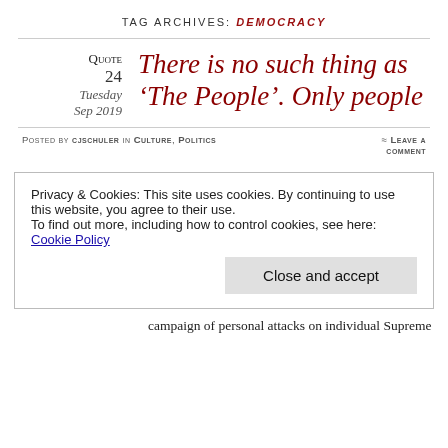TAG ARCHIVES: DEMOCRACY
Quote 24 Tuesday Sep 2019
There is no such thing as ‘The People’. Only people
Posted by cjschuler in Culture, Politics ≈ Leave a comment
Privacy & Cookies: This site uses cookies. By continuing to use this website, you agree to their use.
To find out more, including how to control cookies, see here: Cookie Policy
Close and accept
campaign of personal attacks on individual Supreme